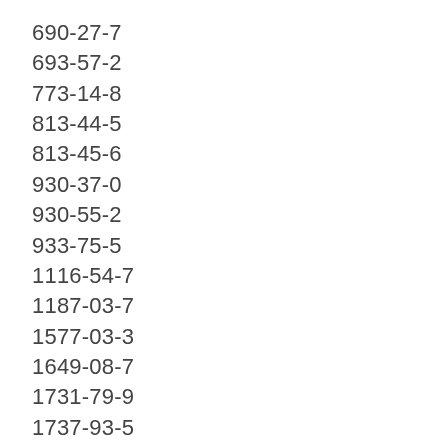690-27-7
693-57-2
773-14-8
813-44-5
813-45-6
930-37-0
930-55-2
933-75-5
1116-54-7
1187-03-7
1577-03-3
1649-08-7
1731-79-9
1737-93-5